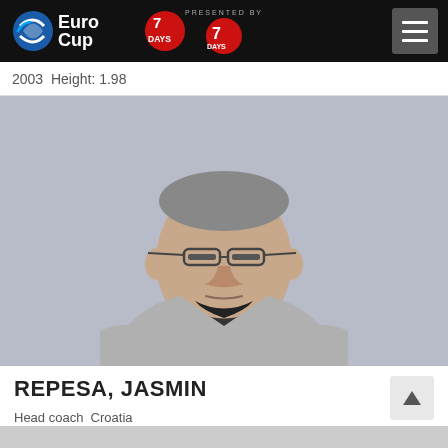EuroCup 7DAYS — PRESENTED BY 7DAYS
2003  Height: 1.98
[Figure (photo): Portrait photo of Jasmin Repesa, a middle-aged man with glasses, wearing a grey zip-up jacket with arms crossed, against a light grey background.]
REPESA, JASMIN
Head coach  Croatia
1961